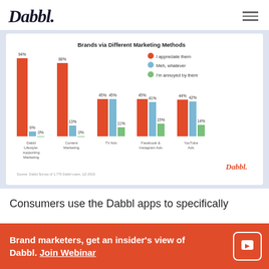Dabbl
[Figure (grouped-bar-chart): Brands via Different Marketing Methods]
Consumers use the Dabbl apps to specifically
Brand marketers, get an insider's view of Dabbl. Join Webinar